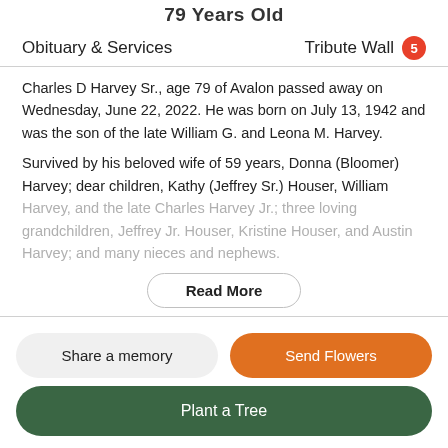79 Years Old
Obituary & Services | Tribute Wall 5
Charles D Harvey Sr., age 79 of Avalon passed away on Wednesday, June 22, 2022. He was born on July 13, 1942 and was the son of the late William G. and Leona M. Harvey.
Survived by his beloved wife of 59 years, Donna (Bloomer) Harvey; dear children, Kathy (Jeffrey Sr.) Houser, William Harvey, and the late Charles Harvey Jr.; three loving grandchildren, Jeffrey Jr. Houser, Kristine Houser, and Austin Harvey; and many nieces and nephews.
Read More
Share a memory
Send Flowers
Plant a Tree